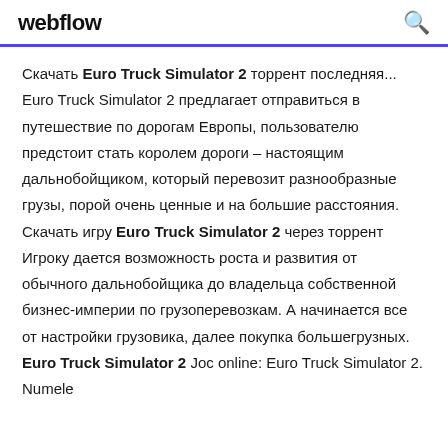webflow
Скачать Euro Truck Simulator 2 торрент последняя... Euro Truck Simulator 2 предлагает отправиться в путешествие по дорогам Европы, пользователю предстоит стать королем дороги – настоящим дальнобойщиком, который перевозит разнообразные грузы, порой очень ценные и на большие расстояния. Скачать игру Euro Truck Simulator 2 через торрент Игроку дается возможность роста и развития от обычного дальнобойщика до владельца собственной бизнес-империи по грузоперевозкам. А начинается все от настройки грузовика, далее покупка большегрузных. Euro Truck Simulator 2 Joc online: Euro Truck Simulator 2. Numele